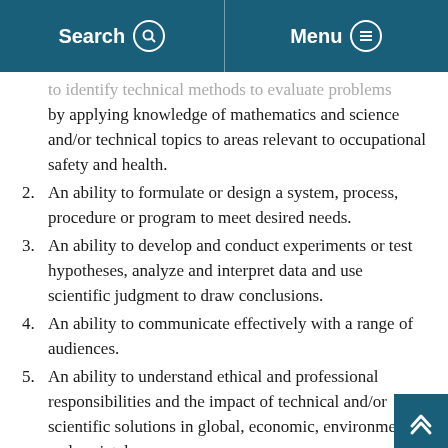Search | Menu
to identify technical methods to evaluate problems by applying knowledge of mathematics and science and/or technical topics to areas relevant to occupational safety and health.
2. An ability to formulate or design a system, process, procedure or program to meet desired needs.
3. An ability to develop and conduct experiments or test hypotheses, analyze and interpret data and use scientific judgment to draw conclusions.
4. An ability to communicate effectively with a range of audiences.
5. An ability to understand ethical and professional responsibilities and the impact of technical and/or scientific solutions in global, economic, environmental, and societal